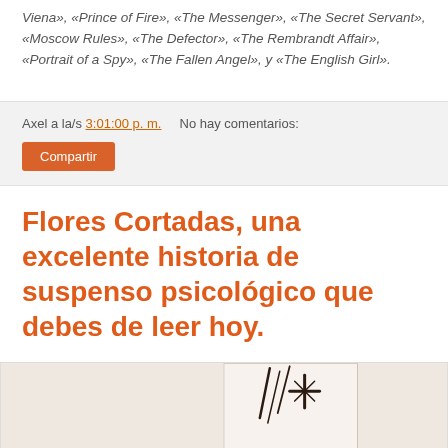Viena», «Prince of Fire», «The Messenger», «The Secret Servant», «Moscow Rules», «The Defector», «The Rembrandt Affair», «Portrait of a Spy», «The Fallen Angel», y «The English Girl».
Axel a la/s 3:01:00 p. m.   No hay comentarios:
Compartir
Flores Cortadas, una excelente historia de suspenso psicológico que debes de leer hoy.
[Figure (photo): Book cover of 'Flores Cortadas' by Karin, showing a partial view with red text on a light background with dark marks]